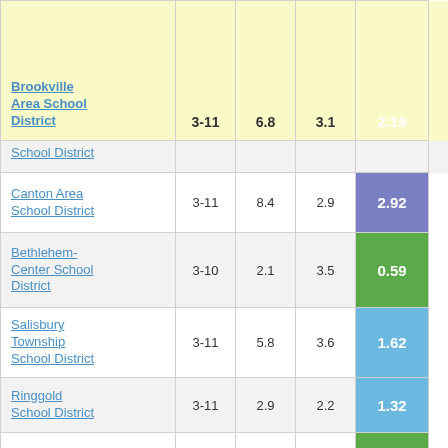| School District | Grades | Col3 | Col4 | Score |  |
| --- | --- | --- | --- | --- | --- |
| Brookville Area School District | 3-11 | 6.8 | 3.1 | 2.19 |  |
| School District |  |  |  | -0.?? |  |
| Canton Area School District | 3-11 | 8.4 | 2.9 | 2.92 |  |
| Bethlehem-Center School District | 3-10 | 2.1 | 3.5 | 0.59 |  |
| Salisbury Township School District | 3-11 | 5.8 | 3.6 | 1.62 |  |
| Ringgold School District | 3-11 | 2.9 | 2.2 | 1.32 |  |
| Minersville Area School District | 3-11 | -2.9 | 3.4 | -0.86 |  |
| Conneaut School District | 3-12 | -2.3 | 2.6 | -0.91 |  |